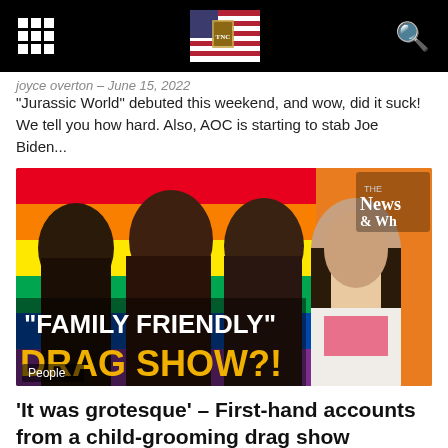Navigation bar with grid icon, logo, and search icon
joyce overton – June 15, 2022
"Jurassic World" debuted this weekend, and wow, did it suck! We tell you how hard. Also, AOC is starting to stab Joe Biden...
[Figure (photo): Thumbnail image showing three men and a woman against a rainbow flag background. Text overlay reads '"FAMILY FRIENDLY" DRAG SHOW?!' with a 'People' label in lower left. A 'The News & Why It Matters' logo appears in the upper right corner.]
‘It was grotesque’ – First-hand accounts from a child-grooming drag show